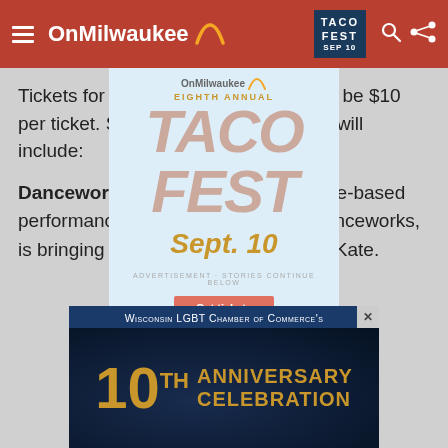OnMilwaukee
Tickets for all ARCo performances will be $10 per ticket. Several regular performers will include:
Danceworks at Kate – The Milwaukee-based performance and dance company, Danceworks, is bringing its skilled dancers to Saint Kate.
[Figure (illustration): Taco Fest Eighth Annual overlay popup advertisement with light blue background showing TACO FEST in large letters, Sept. 10 date, and Get tickets button]
[Figure (illustration): Wisconsin LGBT Chamber of Commerce's 10th Anniversary Celebration advertisement banner with gold text on dark blue background]